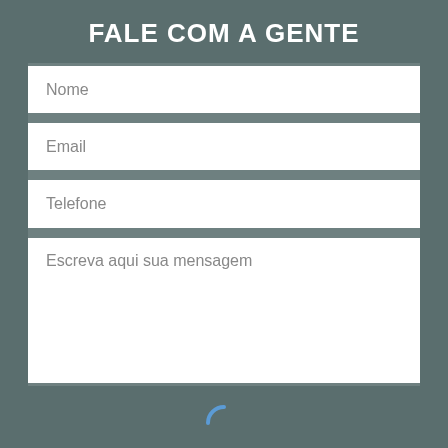FALE COM A GENTE
[Figure (screenshot): Contact form with fields: Nome, Email, Telefone, Escreva aqui sua mensagem, a loading spinner icon, and an Enviar (Send) button on a teal-grey background.]